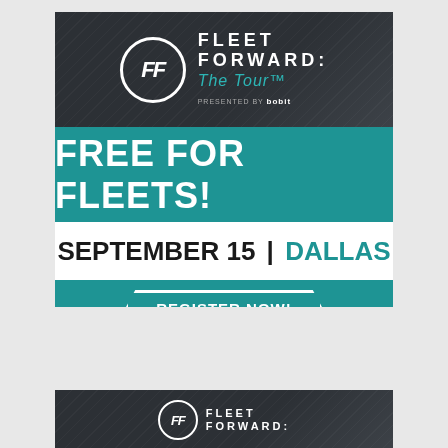[Figure (infographic): Fleet Forward: The Tour advertisement banner. Dark header with circular FF logo and text 'FLEET FORWARD: The Tour presented by bobit'. Teal section with 'FREE FOR FLEETS!' in large white bold text. White section with 'SEPTEMBER 15 | DALLAS'. Teal bottom section with 'REGISTER NOW!' button in hexagon-clipped border.]
[Figure (infographic): Partial second Fleet Forward: The Tour advertisement banner showing only the dark header with circular FF logo and 'FLEET FORWARD:' text.]